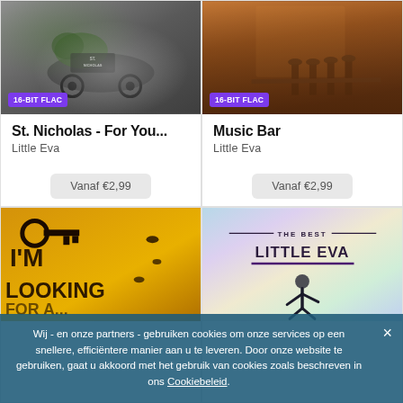[Figure (photo): Album cover for St. Nicholas - For You... by Little Eva, showing vintage sleigh scene, with purple 16-BIT FLAC badge]
St. Nicholas - For You...
Little Eva
Vanaf €2,99
[Figure (photo): Album cover for Music Bar by Little Eva, showing warm-toned bar interior with stools, with purple 16-BIT FLAC badge]
Music Bar
Little Eva
Vanaf €2,99
[Figure (illustration): Album cover with yellow/gold background showing I'm Looking For An Ideal text in vintage style]
[Figure (photo): Album cover for The Best Little Eva, showing a holographic pastel background with Little Eva text and a person dancing]
Wij - en onze partners - gebruiken cookies om onze services op een snellere, efficiëntere manier aan u te leveren. Door onze website te gebruiken, gaat u akkoord met het gebruik van cookies zoals beschreven in ons Cookiebeleid.